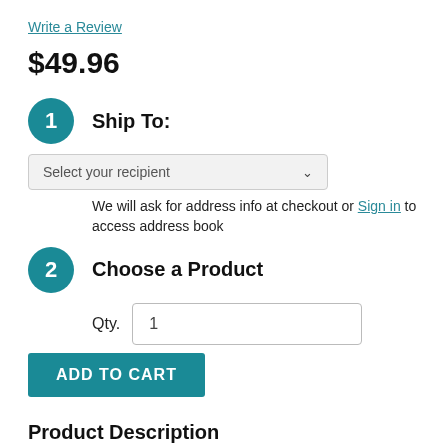Write a Review
$49.96
1 Ship To:
Select your recipient
We will ask for address info at checkout or Sign in to access address book
2 Choose a Product
Qty. 1
ADD TO CART
Product Description